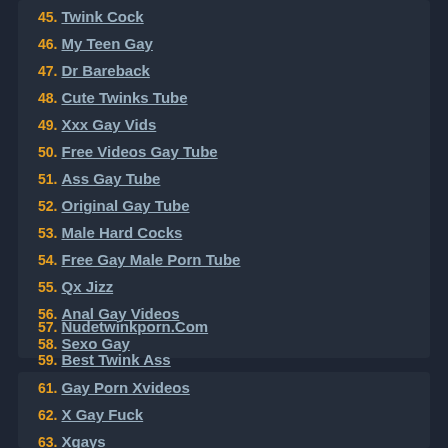45. Twink Cock
46. My Teen Gay
47. Dr Bareback
48. Cute Twinks Tube
49. Xxx Gay Vids
50. Free Videos Gay Tube
51. Ass Gay Tube
52. Original Gay Tube
53. Male Hard Cocks
54. Free Gay Male Porn Tube
55. Qx Jizz
56. Anal Gay Videos
57. Nudetwinkporn.Com
58. Sexo Gay
59. Best Twink Ass
60. Young Gay Guys
61. Gay Porn Xvideos
62. X Gay Fuck
63. Xgays
64. Male Cock Sex